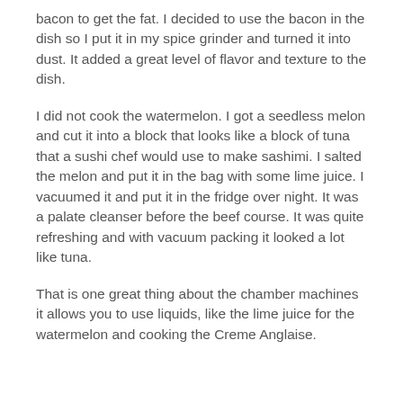bacon to get the fat. I decided to use the bacon in the dish so I put it in my spice grinder and turned it into dust. It added a great level of flavor and texture to the dish.
I did not cook the watermelon. I got a seedless melon and cut it into a block that looks like a block of tuna that a sushi chef would use to make sashimi. I salted the melon and put it in the bag with some lime juice. I vacuumed it and put it in the fridge over night. It was a palate cleanser before the beef course. It was quite refreshing and with vacuum packing it looked a lot like tuna.
That is one great thing about the chamber machines it allows you to use liquids, like the lime juice for the watermelon and cooking the Creme Anglaise.